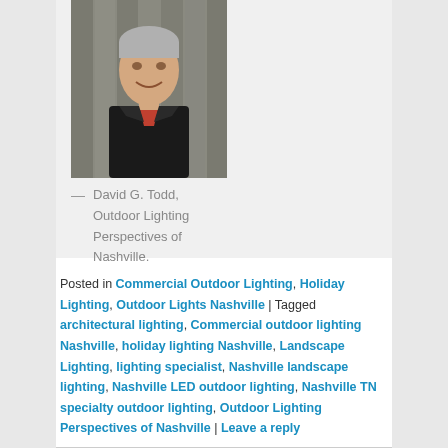[Figure (photo): Headshot of David G. Todd, a middle-aged man with gray hair wearing a black jacket, smiling, photographed outdoors against a wooden fence background.]
— David G. Todd, Outdoor Lighting Perspectives of Nashville.
Posted in Commercial Outdoor Lighting, Holiday Lighting, Outdoor Lights Nashville | Tagged architectural lighting, Commercial outdoor lighting Nashville, holiday lighting Nashville, Landscape Lighting, lighting specialist, Nashville landscape lighting, Nashville LED outdoor lighting, Nashville TN specialty outdoor lighting, Outdoor Lighting Perspectives of Nashville | Leave a reply